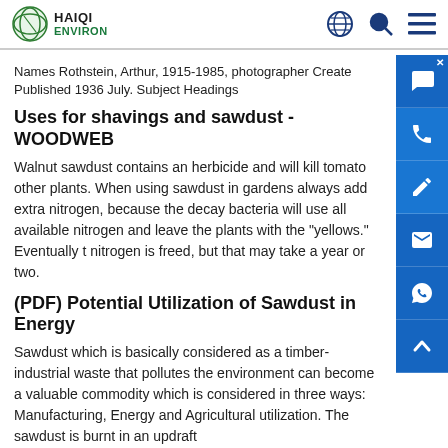HAIQI ENVIRON
Names Rothstein, Arthur, 1915-1985, photographer Created Published 1936 July. Subject Headings
Uses for shavings and sawdust - WOODWEB
Walnut sawdust contains an herbicide and will kill tomatoes and other plants. When using sawdust in gardens always add extra nitrogen, because the decay bacteria will use all available nitrogen and leave the plants with the "yellows." Eventually the nitrogen is freed, but that may take a year or two.
(PDF) Potential Utilization of Sawdust in Energy
Sawdust which is basically considered as a timber-industrial waste that pollutes the environment can become a valuable commodity which is considered in three ways: Manufacturing, Energy and Agricultural utilization. The sawdust is burnt in an updraft
How To Compost Sawdust (9 Things You Can Add To Speed It Up)